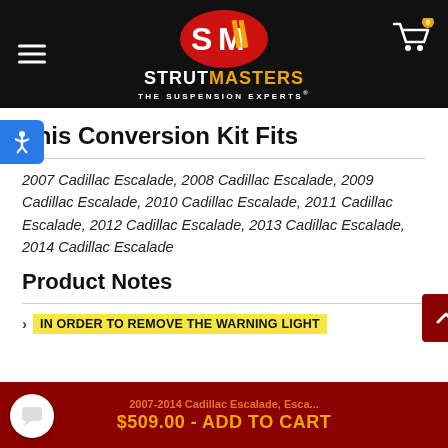[Figure (logo): Strutmasters logo: red oval with SM letters in white/gold, below it STRUTMASTERS in white and gold bold text, tagline THE SUSPENSION EXPERTS in white]
This Conversion Kit Fits
2007 Cadillac Escalade, 2008 Cadillac Escalade, 2009 Cadillac Escalade, 2010 Cadillac Escalade, 2011 Cadillac Escalade, 2012 Cadillac Escalade, 2013 Cadillac Escalade, 2014 Cadillac Escalade
Product Notes
IN ORDER TO REMOVE THE WARNING LIGHT
2007-2014 Cadillac Escalade, Esca...
$509.00 - ADD TO CART